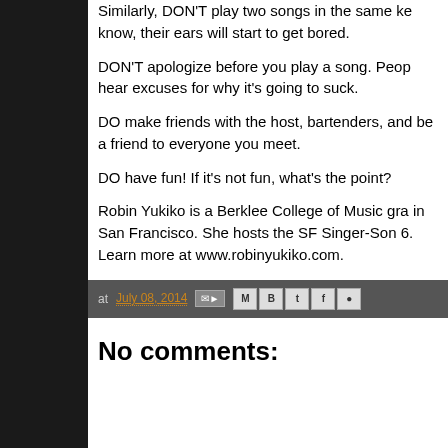Similarly, DON'T play two songs in the same ke know, their ears will start to get bored.
DON'T apologize before you play a song. Peop hear excuses for why it's going to suck.
DO make friends with the host, bartenders, and be a friend to everyone you meet.
DO have fun! If it's not fun, what's the point?
Robin Yukiko is a Berklee College of Music gra in San Francisco. She hosts the SF Singer-Son 6. Learn more at www.robinyukiko.com.
at July 08, 2014
No comments: